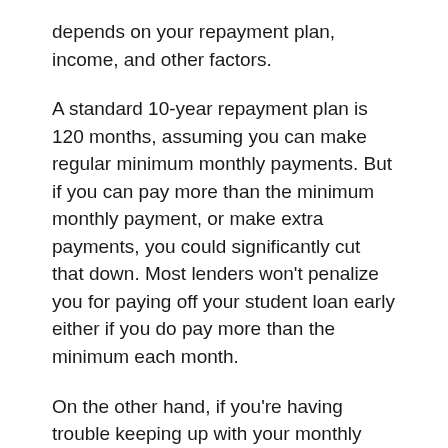depends on your repayment plan, income, and other factors.
A standard 10-year repayment plan is 120 months, assuming you can make regular minimum monthly payments. But if you can pay more than the minimum monthly payment, or make extra payments, you could significantly cut that down. Most lenders won't penalize you for paying off your student loan early either if you do pay more than the minimum each month.
On the other hand, if you're having trouble keeping up with your monthly payments, you could opt for an income-driven repayment plan. IDR plans are an option if you have federal student loans, but are not offered by most private student loan lenders.